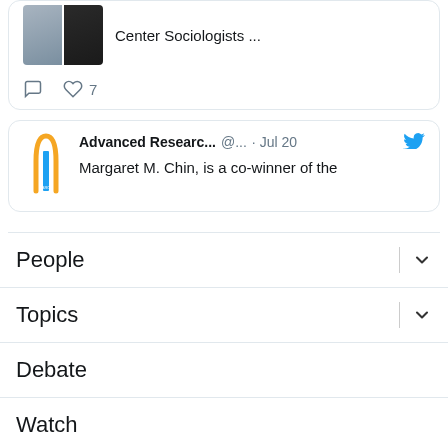[Figure (screenshot): Top tweet card partial view showing two profile photos side by side and text 'Center Sociologists ...' with comment and like (7) action icons below]
[Figure (screenshot): Tweet card: Advanced Researc... @... · Jul 20 with Twitter bird icon. Body: 'Margaret M. Chin, is a co-winner of the']
People
Topics
Debate
Watch
Events